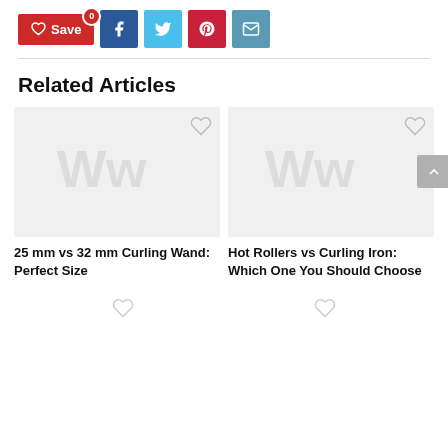[Figure (infographic): Social share toolbar with Save button (red, heart icon, badge '0'), Facebook (dark blue), Twitter (light blue), Pinterest (red), Email (teal-blue) buttons]
Related Articles
[Figure (photo): Thumbnail image placeholder for article '25 mm vs 32 mm Curling Wand: Perfect Size' with watermark logo and heart icon]
25 mm vs 32 mm Curling Wand: Perfect Size
[Figure (photo): Thumbnail image placeholder for article 'Hot Rollers vs Curling Iron: Which One You Should Choose' with watermark logo and heart icon]
Hot Rollers vs Curling Iron: Which One You Should Choose
[Figure (infographic): Two heart (save) icons at bottom for additional article cards not yet loaded]